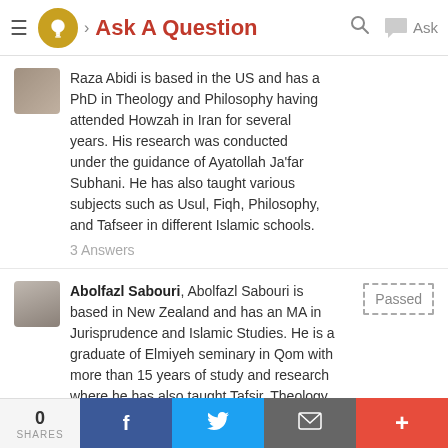Ask A Question
Raza Abidi is based in the US and has a PhD in Theology and Philosophy having attended Howzah in Iran for several years. His research was conducted under the guidance of Ayatollah Ja'far Subhani. He has also taught various subjects such as Usul, Fiqh, Philosophy, and Tafseer in different Islamic schools.
3 Answers
Abolfazl Sabouri, Abolfazl Sabouri is based in New Zealand and has an MA in Jurisprudence and Islamic Studies. He is a graduate of Elmiyeh seminary in Qom with more than 15 years of study and research where he has also taught Tafsir, Theology and Jurisprudence.
Passed
43 Answers
0 SHARES | Facebook | Twitter | Email | +